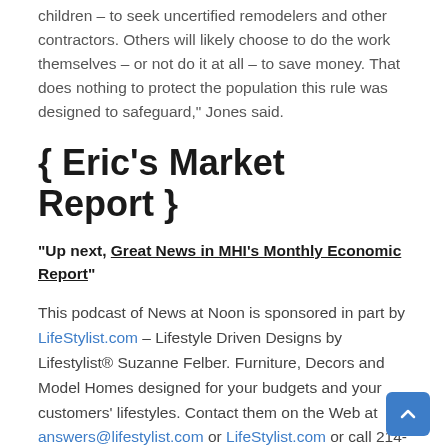children – to seek uncertified remodelers and other contractors. Others will likely choose to do the work themselves – or not do it at all – to save money. That does nothing to protect the population this rule was designed to safeguard," Jones said.
{ Eric's Market Report }
"Up next, Great News in MHI's Monthly Economic Report"
This podcast of News at Noon is sponsored in part by LifeStylist.com – Lifestyle Driven Designs by Lifestylist® Suzanne Felber. Furniture, Decors and Model Homes designed for your budgets and your customers' lifestyles. Contact them on the Web at answers@lifestylist.com or LifeStylist.com or call 214-941-8341.
and "Now, back to the news…"